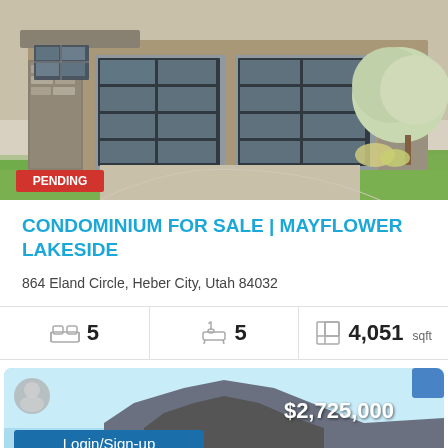[Figure (photo): Exterior photo of a modern home with two large glass-panel garage doors, stone facade, and landscaped front yard with a tree. A red PENDING badge overlays the bottom-left corner.]
CONDOMINIUM FOR SALE | MAYFLOWER LAKESIDE
864 Eland Circle, Heber City, Utah 84032
| Beds | Baths | Size |
| --- | --- | --- |
| 5 | 5 | 4,051 sqft |
[Figure (photo): Partial view of another property listing card showing price $2,725,000, a Login/Sign-up button, and a partially visible house exterior render against a blue sky.]